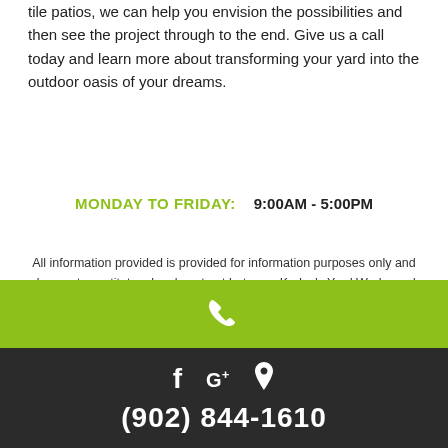tile patios, we can help you envision the possibilities and then see the project through to the end. Give us a call today and learn more about transforming your yard into the outdoor oasis of your dreams.
MONDAY TO FRIDAY:   9:00AM - 5:00PM
All information provided is provided for information purposes only and does not constitute a legal contract between Kadey's Yard Workz and any person or entity unless otherwise specified. Information is subject to change without prior notice. Although every reasonable effort is made to present current and accurate information, LinkNow™ Media makes no guarantees of any kind.
[Figure (infographic): Green bar with white phone icon, dark footer with social media icons (Facebook, Google+, map pin) and phone number (902) 844-1610]